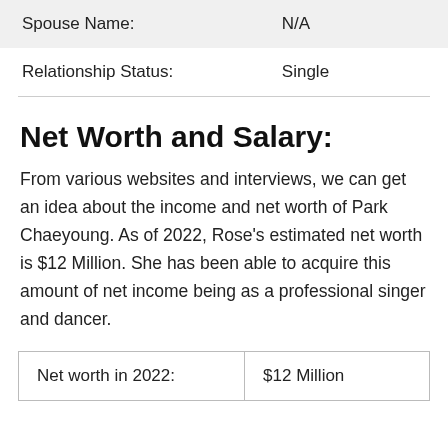| Spouse Name: | N/A |
| Relationship Status: | Single |
Net Worth and Salary:
From various websites and interviews, we can get an idea about the income and net worth of Park Chaeyoung. As of 2022, Rose’s estimated net worth is $12 Million. She has been able to acquire this amount of net income being as a professional singer and dancer.
| Net worth in 2022: | $12 Million |